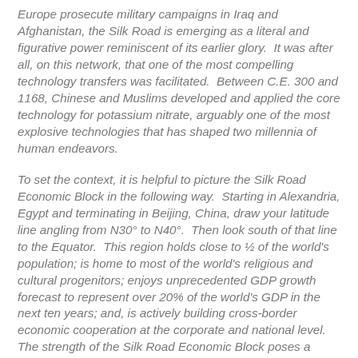Europe prosecute military campaigns in Iraq and Afghanistan, the Silk Road is emerging as a literal and figurative power reminiscent of its earlier glory.  It was after all, on this network, that one of the most compelling technology transfers was facilitated.  Between C.E. 300 and 1168, Chinese and Muslims developed and applied the core technology for potassium nitrate, arguably one of the most explosive technologies that has shaped two millennia of human endeavors.
To set the context, it is helpful to picture the Silk Road Economic Block in the following way.  Starting in Alexandria, Egypt and terminating in Beijing, China, draw your latitude line angling from N30° to N40°.  Then look south of that line to the Equator.  This region holds close to ½ of the world's population; is home to most of the world's religious and cultural progenitors; enjoys unprecedented GDP growth forecast to represent over 20% of the world's GDP in the next ten years; and, is actively building cross-border economic cooperation at the corporate and national level.  The strength of the Silk Road Economic Block poses a number of compelling arguments for a global shift in power